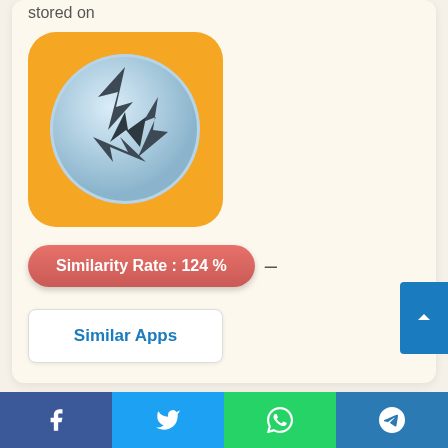stored on
[Figure (logo): App icon with orange background and a globe showing dark arrow/navigation shapes]
Similarity Rate : 124 % –
Similar Apps
7. Navigation for Google Maps Go 🏠
[Figure (infographic): Share bar with Facebook, Twitter, WhatsApp, and Telegram buttons at the bottom]